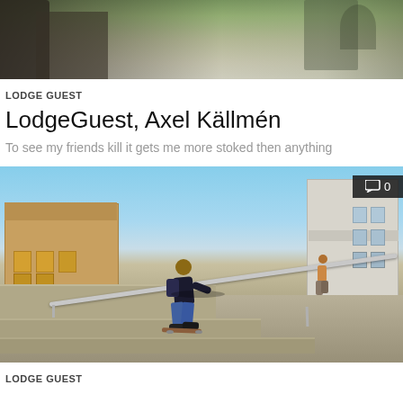[Figure (photo): Outdoor photo with people and greenery/trees in the background, partial view cropped at top]
LODGE GUEST
LodgeGuest, Axel Källmén
To see my friends kill it gets me more stoked then anything
[Figure (photo): Skateboarder performing a trick on a rail/stairset at an outdoor urban skate spot with brick buildings and blue sky in background. Comment badge showing 0 comments in top right corner.]
LODGE GUEST